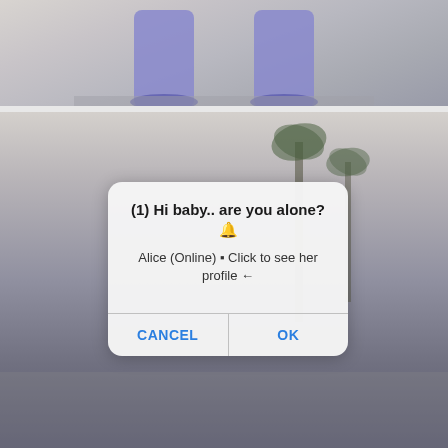[Figure (photo): Top portion of a photo showing legs/feet with purple/blue stockings on pavement]
[Figure (photo): Background photo of a woman and man outdoors with palm trees]
(1) Hi baby.. are you alone?🔔
Alice (Online) 💬 Click to see her profile ←
CANCEL
OK